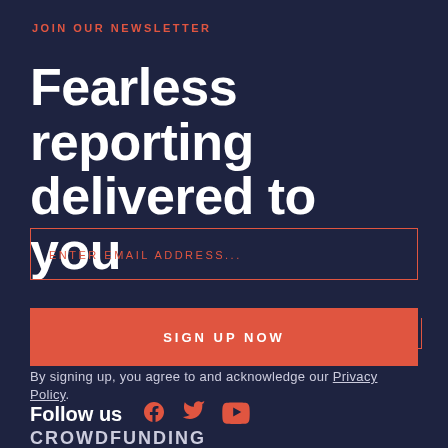JOIN OUR NEWSLETTER
Fearless reporting delivered to you
ENTER EMAIL ADDRESS...
SIGN UP NOW
By signing up, you agree to and acknowledge our Privacy Policy.
Follow us
CROWDFUNDING